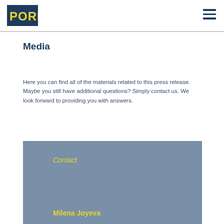[Figure (logo): PORR company logo — dark blue background with yellow bold text 'PORR']
Media
Here you can find all of the materials related to this press release. Maybe you still have additional questions? Simply contact us. We look forward to providing you with answers.
Contact
Milena Joyeva